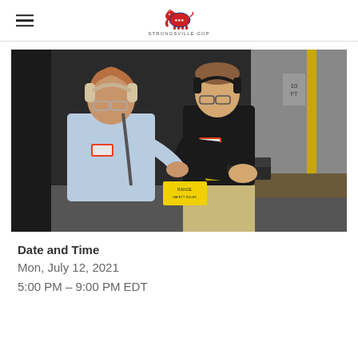STRONGSVILLE GOP
[Figure (photo): Two men wearing ear protection and safety glasses at an indoor shooting range. The man on the right in a dark polo shirt holds a firearm and appears to be instructing the man on the left in a light blue shirt.]
Date and Time
Mon, July 12, 2021
5:00 PM – 9:00 PM EDT